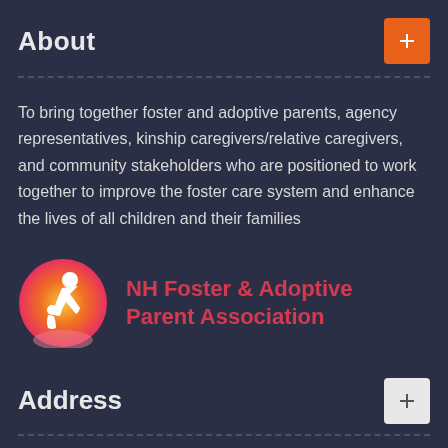About
To bring together foster and adoptive parents, agency representatives, kinship caregivers/relative caregivers, and community stakeholders who are positioned to work together to improve the foster care system and enhance the lives of all children and their families
[Figure (logo): NH Foster & Adoptive Parent Association logo — circular gradient orange/yellow/pink icon showing adult and child figures]
Address
NH Foster & Adoptive Parent Association